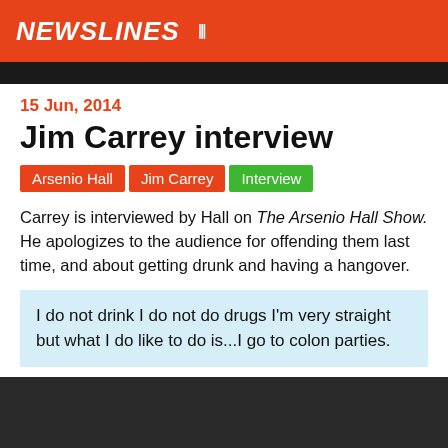NEWSLINES
15 Jun, 2014
Jim Carrey interview
Arsenio Hall
Jim Carrey
Interview
Carrey is interviewed by Hall on The Arsenio Hall Show. He apologizes to the audience for offending them last time, and about getting drunk and having a hangover.
I do not drink I do not do drugs I'm very straight but what I do like to do is...I go to colon parties.